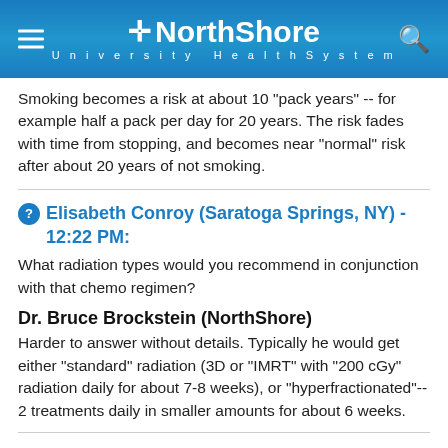NorthShore University HealthSystem
Smoking becomes a risk at about 10 "pack years" -- for example half a pack per day for 20 years. The risk fades with time from stopping, and becomes near "normal" risk after about 20 years of not smoking.
Elisabeth Conroy (Saratoga Springs, NY) - 12:22 PM:
What radiation types would you recommend in conjunction with that chemo regimen?
Dr. Bruce Brockstein (NorthShore)
Harder to answer without details. Typically he would get either "standard" radiation (3D or "IMRT" with "200 cGy" radiation daily for about 7-8 weeks), or "hyperfractionated"-- 2 treatments daily in smaller amounts for about 6 weeks.